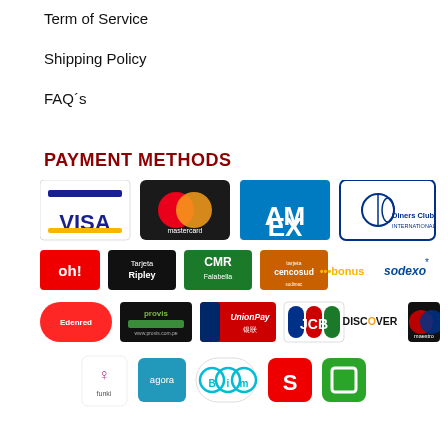Term of Service
Shipping Policy
FAQ´s
PAYMENT METHODS
[Figure (logo): Payment method logos: Visa, Mastercard, American Express, Diners Club International, Oh!, Tarjeta Ripley, CMR Falabella, Tarjeta Cencosud, bonus, Sodexo, Edenred, Provis, UnionPay, JCB, Discover, Maestro, Funki, Agora, B i m, S (red), green square logo]